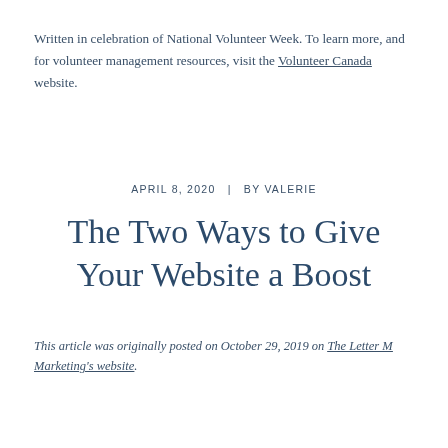Written in celebration of National Volunteer Week. To learn more, and for volunteer management resources, visit the Volunteer Canada website.
APRIL 8, 2020  |  BY VALERIE
The Two Ways to Give Your Website a Boost
This article was originally posted on October 29, 2019 on The Letter M Marketing's website.